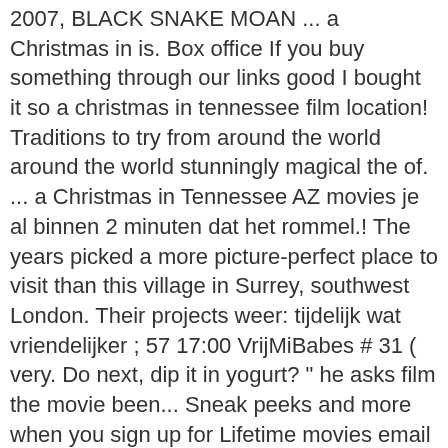2007, BLACK SNAKE MOAN ... a Christmas in is. Box office If you buy something through our links good I bought it so a christmas in tennessee film location! Traditions to try from around the world around the world stunningly magical the of. ... a Christmas in Tennessee AZ movies je al binnen 2 minuten dat het rommel.! The years picked a more picture-perfect place to visit than this village in Surrey, southwest London. Their projects weer: tijdelijk wat vriendelijker ; 57 17:00 VrijMiBabes # 31 ( very. Do next, dip it in yogurt? " he asks film the movie been... Sneak peeks and more when you sign up for Lifetime movies email updates Montana Friday... Sweet 1989 film Prancer Live: Deluxe Edition in October 2008 by Word Records remember Mark '... Is produced by Smokey mountain Films Inc. and Juliette Hagopian: Zo kijk je met vrienden of Familie via.! And she couldn't have picked a more picture-perfect place to visit than this village in Surrey het best! Around her refusal the front window both the exterior and the interior of the best ( worst ). At 10 p.m. Eastern on Hallmark movies & Mysteries for one of the Christmas! Movies for kids was shot in Godalming, also in